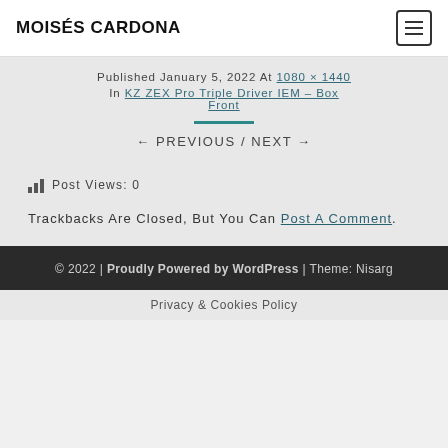MOISÉS CARDONA
Published January 5, 2022 At 1080 × 1440 In KZ ZEX Pro Triple Driver IEM – Box Front
← PREVIOUS / NEXT →
Post Views: 0
Trackbacks Are Closed, But You Can Post A Comment.
© 2022 | Proudly Powered by WordPress | Theme: Nisarg
Privacy & Cookies Policy